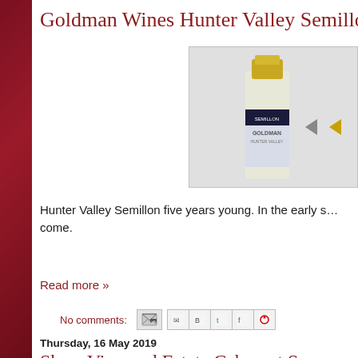Goldman Wines Hunter Valley Semillo…
[Figure (photo): Wine bottle of Goldman Hunter Valley Semillon, showing gold foil top, dark navy band label reading SEMILLON, and light blue/white label with GOLDMAN text]
Hunter Valley Semillon five years young. In the early s… come.
Read more »
No comments:
Thursday, 16 May 2019
Shaw Vineyard Estate Cabernet Sauv…